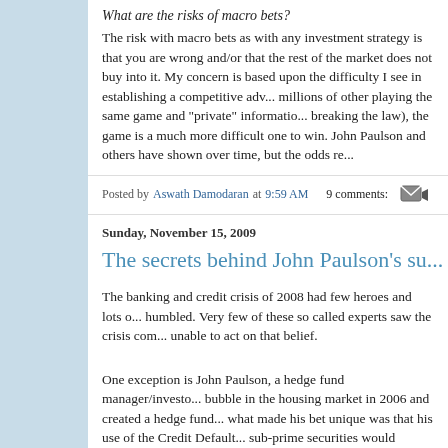What are the risks of macro bets?
The risk with macro bets as with any investment strategy is that you are wrong and/or that the rest of the market does not buy into it. My concern is based upon the difficulty I see in establishing a competitive advantage, with millions of other playing the same game and "private" information (without breaking the law), the game is a much more difficult one to win. John Paulson and others have shown over time, but the odds re...
Posted by Aswath Damodaran at 9:59 AM   9 comments:
Sunday, November 15, 2009
The secrets behind John Paulson's su...
The banking and credit crisis of 2008 had few heroes and lots of humbled. Very few of these so called experts saw the crisis com... unable to act on that belief.
One exception is John Paulson, a hedge fund manager/investo... bubble in the housing market in 2006 and created a hedge fund... what made his bet unique was that his use of the Credit Default... sub-prime securities would collapse and he was right. Greg Zuc... Street Journal, has a short article reviewing Paulson's strategy...
http://online.wsj.com/article/SB125823321386948789.html?m...